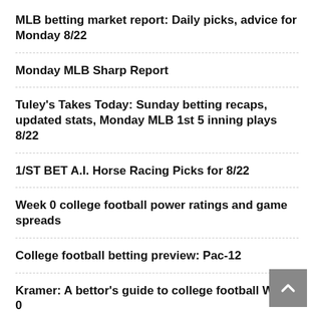MLB betting market report: Daily picks, advice for Monday 8/22
Monday MLB Sharp Report
Tuley's Takes Today: Sunday betting recaps, updated stats, Monday MLB 1st 5 inning plays 8/22
1/ST BET A.I. Horse Racing Picks for 8/22
Week 0 college football power ratings and game spreads
College football betting preview: Pac-12
Kramer: A bettor's guide to college football Week 0
How I calculate home-field advantage in college football